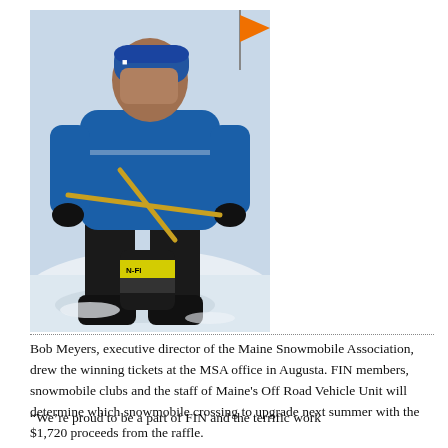[Figure (photo): A person in a blue snowmobile jacket and black snow pants crouching on snow, holding wooden sticks/rods, with a canister visible between their legs. An orange flag is visible in the background.]
Bob Meyers, executive director of the Maine Snowmobile Association, drew the winning tickets at the MSA office in Augusta. FIN members, snowmobile clubs and the staff of Maine's Off Road Vehicle Unit will determine which snowmobile crossing to upgrade next summer with the $1,720 proceeds from the raffle.
“We’re proud to be a part of FIN and the terrific work